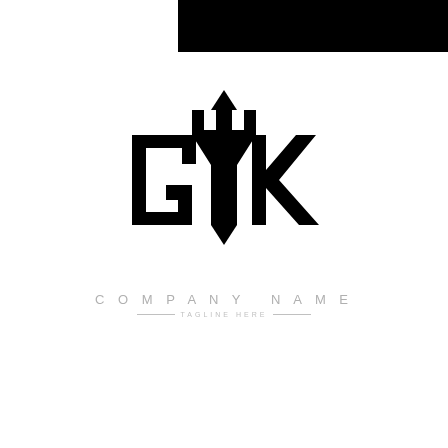[Figure (logo): Black rectangular bar in upper right corner of the page]
[Figure (logo): GYK monogram logo in polygon/hexagon shape style with bold black letters G, Y, K arranged inside a hexagonal outline]
COMPANY NAME
TAGLINE HERE